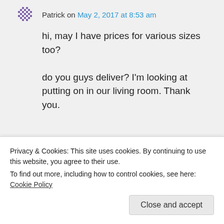Patrick on May 2, 2017 at 8:53 am
hi, may I have prices for various sizes too?
do you guys deliver? I'm looking at putting on in our living room. Thank you.
Cainta Plant Nursery on May 2, 2017 at 10:03 am
Privacy & Cookies: This site uses cookies. By continuing to use this website, you agree to their use.
To find out more, including how to control cookies, see here: Cookie Policy